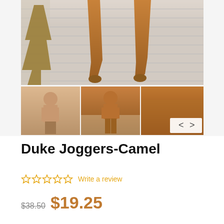[Figure (photo): Main product photo showing camel-colored jogger pants legs against white brick wall background, with decorative tree on left. Below are three thumbnail images: left shows light tan full outfit with joggers, center shows camel hoodie set with joggers, right shows close-up of camel top and shorts with navigation arrows.]
Duke Joggers-Camel
Write a review
$38.50  $19.25